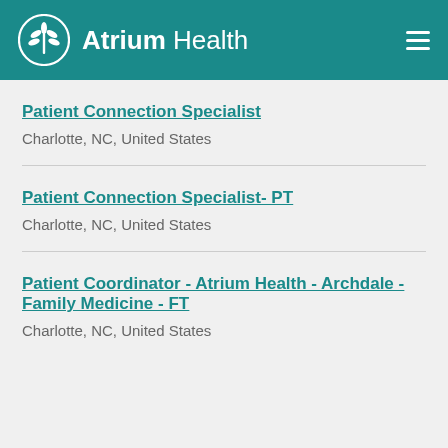Atrium Health
Patient Connection Specialist
Charlotte, NC, United States
Patient Connection Specialist- PT
Charlotte, NC, United States
Patient Coordinator - Atrium Health - Archdale - Family Medicine - FT
Charlotte, NC, United States